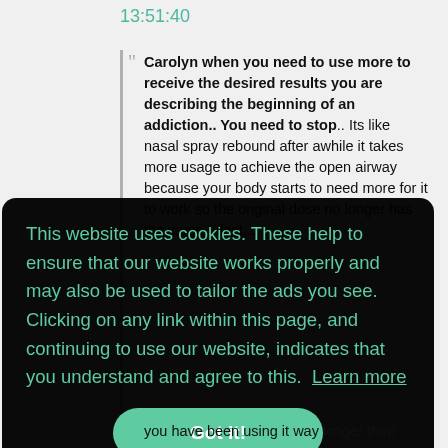13:51:40
Carolyn when you need to use more to receive the desired results you are describing the beginning of an addiction.. You need to stop.. Its like nasal spray rebound after awhile it takes more usage to achieve the open airway because your body starts to need more for it to work so the original dose no longer has the same effect...
This website uses cookies. These help to ensure that our website works properly and may also be used to tailor the ads you see. Clicking on any link within this page, and continuing to use our website, indicates that you understand and agree to this.  Learn more
Got it!
you have been using it way longer then